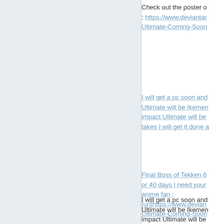Check out the poster o : https://www.deviantar Ultimate-Coming-Soon
I will get a pc soon and Ultimate will be Ikemen impact Ultimate will be takes I will get it done a
Final Boss of Tekken 6 or 40 days I need your anime fan : [url]https://www.devian Ultimate-Coming-Soon
I will get a pc soon and Ultimate will be Ikemen impact Ultimate will be takes I will get it done a